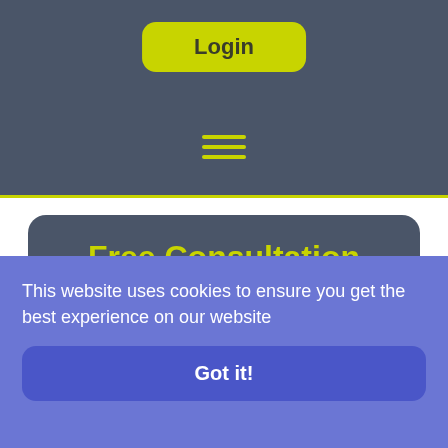Login
[Figure (other): Hamburger menu icon (three horizontal lines)]
Free Consultation
Call Enable FLP today on 01279 755 950 to book your FREE consultancy and to find out how we can make your money work better for you (text continues below fold)
This website uses cookies to ensure you get the best experience on our website
Got it!